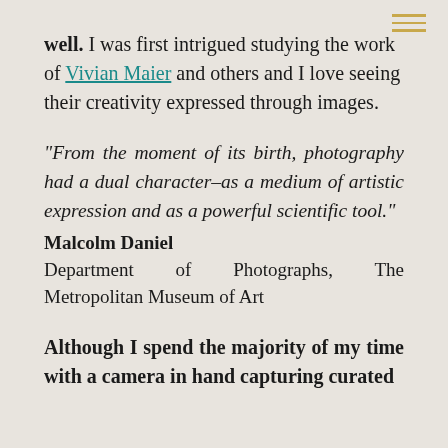well. I was first intrigued studying the work of Vivian Maier and others and I love seeing their creativity expressed through images.
“From the moment of its birth, photography had a dual character–as a medium of artistic expression and as a powerful scientific tool.”
Malcolm Daniel
Department of Photographs, The Metropolitan Museum of Art
Although I spend the majority of my time with a camera in hand capturing curated